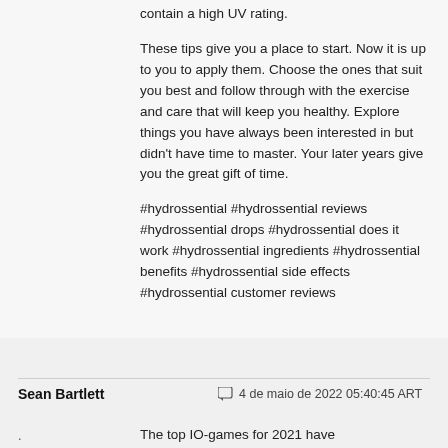contain a high UV rating.
These tips give you a place to start. Now it is up to you to apply them. Choose the ones that suit you best and follow through with the exercise and care that will keep you healthy. Explore things you have always been interested in but didn't have time to master. Your later years give you the great gift of time.
#hydrossential #hydrossential reviews #hydrossential drops #hydrossential does it work #hydrossential ingredients #hydrossential benefits #hydrossential side effects #hydrossential customer reviews
Sean Bartlett
4 de maio de 2022 05:40:45 ART
The top IO-games for 2021 have